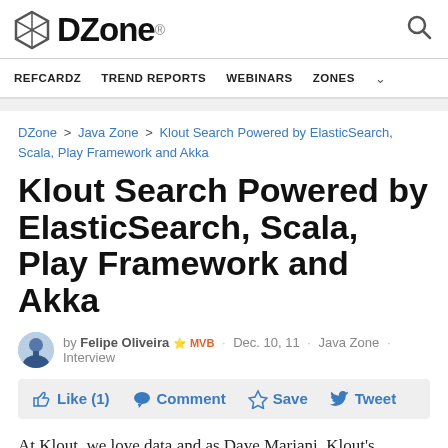DZone. [logo] [search icon]
REFCARDZ  TREND REPORTS  WEBINARS  ZONES
DZone > Java Zone > Klout Search Powered by ElasticSearch, Scala, Play Framework and Akka
Klout Search Powered by ElasticSearch, Scala, Play Framework and Akka
by Felipe Oliveira  MVB  · Dec. 10, 11 · Java Zone · Interview
Like (1)  Comment  Save  Tweet
At Klout, we love data and as Dave Mariani, Klout's